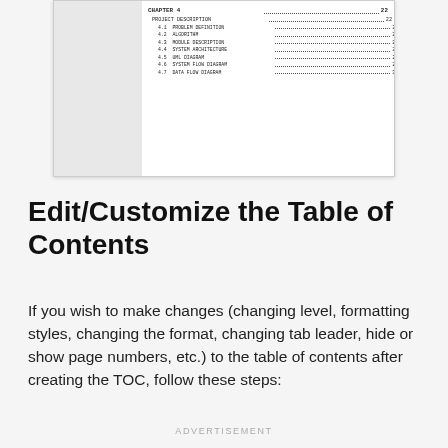[Figure (screenshot): Screenshot of a table of contents from a document, showing CHAPTER 4 with entries: PROJECT DESCRIPTION 22, 4.1 PROBLEM DEFINITION 22, 4.2 ALGORITHM 24, 4.3 MODULE DESCRIPTION 26, 4.4 SYSTEM ARCHITECTURE 27, 4.5 UML DIAGRAM 27, 4.6 SYSTEM FLOW DIAGRAM 28, 4.7 DATA FLOW DIAGRAM 30]
Edit/Customize the Table of Contents
If you wish to make changes (changing level, formatting styles, changing the format, changing tab leader, hide or show page numbers, etc.) to the table of contents after creating the TOC, follow these steps:
ADVERTISEMENT